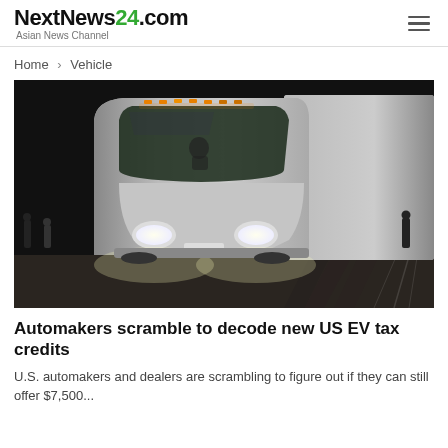NextNews24.com — Asian News Channel
Home > Vehicle
[Figure (photo): Tesla Semi electric truck at a nighttime unveil event, front-facing view with orange lights on roof and bright headlights, crowd and spotlights visible in background]
Automakers scramble to decode new US EV tax credits
U.S. automakers and dealers are scrambling to figure out if they can still offer $7,500...